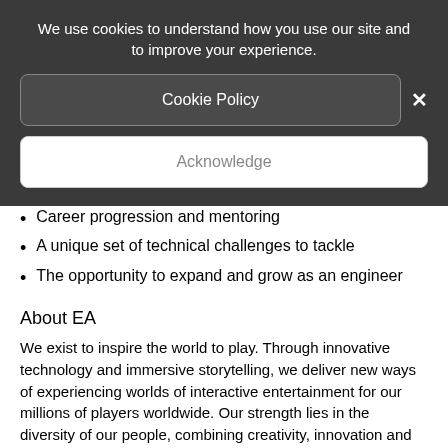We use cookies to understand how you use our site and to improve your experience.
Cookie Policy
Acknowledge
Career progression and mentoring
A unique set of technical challenges to tackle
The opportunity to expand and grow as an engineer
About EA
We exist to inspire the world to play. Through innovative technology and immersive storytelling, we deliver new ways of experiencing worlds of interactive entertainment for our millions of players worldwide. Our strength lies in the diversity of our people, combining creativity, innovation and passion. We fully champion inclusive culture, and provide opportunities for growing, learning, and leading that allows for the most impactful and rewarding work of our teams' careers.